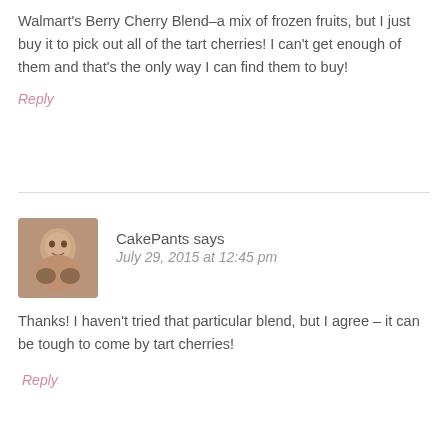Walmart's Berry Cherry Blend–a mix of frozen fruits, but I just buy it to pick out all of the tart cherries! I can't get enough of them and that's the only way I can find them to buy!
Reply
CakePants says
July 29, 2015 at 12:45 pm
Thanks! I haven't tried that particular blend, but I agree – it can be tough to come by tart cherries!
Reply